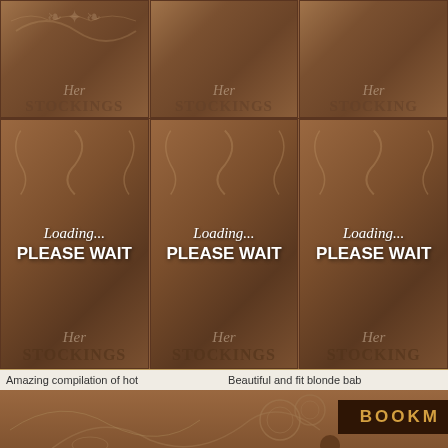[Figure (screenshot): Grid of 6 thumbnail images showing 'Her Stockings' branded loading placeholders with ornamental brown background, 'Loading... PLEASE WAIT' text overlaid on bottom row]
Amazing compilation of hot
Beautiful and fit blonde bab
[Figure (screenshot): Bookmark bar with decorative brown ornamental scroll design and 'BOOKM' label in dark brown banner on right]
[Figure (illustration): Brown decorative ornamental divider with floral/scroll designs]
01  Another Babe
13  Nylonteenbabes.com
25  Nylon XX
02  Sexy Babe Pictures
14  Nylon Teen Pics
26  Nylon N